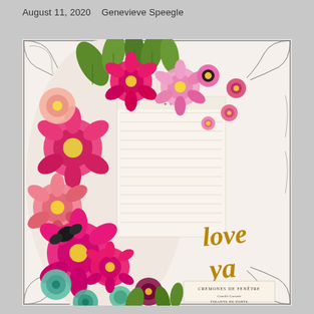August 11, 2020   Genevieve Speegle
[Figure (photo): A decorative scrapbook page featuring abundant pink and magenta paper flowers, green leaf die-cuts, teal roses, and a butterfly, arranged around a central vintage-style journaling card with text. The right side shows a decorative black-ink floral border frame on white background. Gold cursive text reads 'love ya' in the lower right area. A French label 'CREMONES DE FENETRE' appears at the bottom right.]